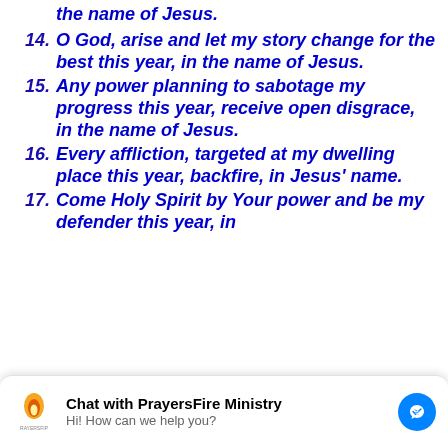(partial/top) the name of Jesus.
14. O God, arise and let my story change for the best this year, in the name of Jesus.
15. Any power planning to sabotage my progress this year, receive open disgrace, in the name of Jesus.
16. Every affliction, targeted at my dwelling place this year, backfire, in Jesus' name.
17. Come Holy Spirit by Your power and be my defender this year, in
[Figure (other): Chat widget overlay: PrayersFire Ministry logo, 'Chat with PrayersFire Ministry', 'Hi! How can we help you?', Messenger icon]
(partial/bottom) and circulate on the same spot, in